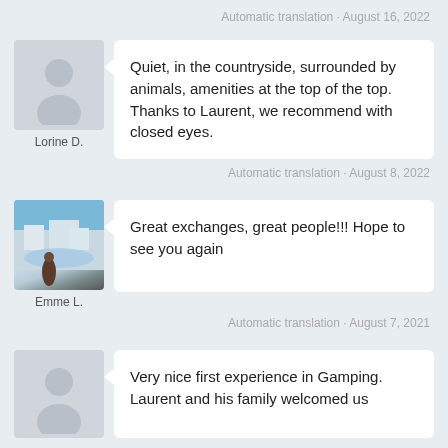Automatic translation · August 16, 2022
[Figure (photo): Avatar placeholder silhouette for Lorine D.]
Lorine D.
Quiet, in the countryside, surrounded by animals, amenities at the top of the top.
Thanks to Laurent, we recommend with closed eyes.
Automatic translation · August 8, 2022
[Figure (photo): Photo of Emme L. in front of Trevi Fountain, Rome]
Emme L.
Great exchanges, great people!!! Hope to see you again
Automatic translation · August 7, 2021
[Figure (photo): Avatar placeholder silhouette for third reviewer]
Very nice first experience in Gamping. Laurent and his family welcomed us